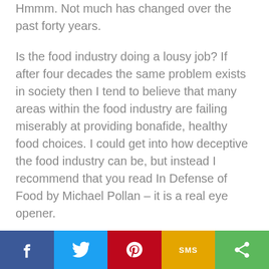Hmmm. Not much has changed over the past forty years.
Is the food industry doing a lousy job? If after four decades the same problem exists in society then I tend to believe that many areas within the food industry are failing miserably at providing bonafide, healthy food choices. I could get into how deceptive the food industry can be, but instead I recommend that you read In Defense of Food by Michael Pollan – it is a real eye opener.
So – what do we have? A food industry that causes more harm than good, food
[Figure (other): Social sharing bar with Facebook (blue), Twitter (light blue), Pinterest (red), SMS (yellow/orange), and Share (green) buttons]